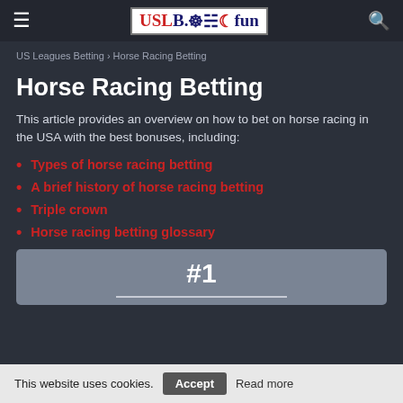US Leagues Betting - USLB.fun navigation header
US Leagues Betting › Horse Racing Betting
Horse Racing Betting
This article provides an overview on how to bet on horse racing in the USA with the best bonuses, including:
Types of horse racing betting
A brief history of horse racing betting
Triple crown
Horse racing betting glossary
[Figure (other): Card box showing #1 ranking with underline]
This website uses cookies. Accept Read more